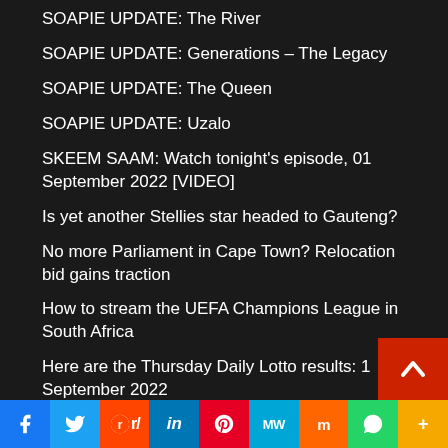SOAPIE UPDATE: The River
SOAPIE UPDATE: Generations – The Legacy
SOAPIE UPDATE: The Queen
SOAPIE UPDATE: Uzalo
SKEEM SAAM: Watch tonight's episode, 01 September 2022 [VIDEO]
Is yet another Stellies star headed to Gauteng?
No more Parliament in Cape Town? Relocation bid gains traction
How to stream the UEFA Champions League in South Africa
Here are the Thursday Daily Lotto results: 1 September 2022
Tour Durban: Gauteng cyclist heads down chasing ti…